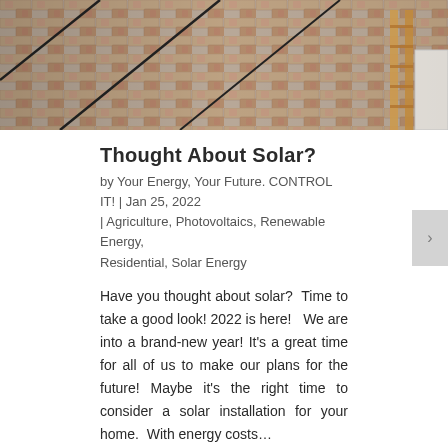[Figure (photo): Aerial or close-up view of a roof with shingles and a ladder visible in the upper right corner]
Thought About Solar?
by Your Energy, Your Future. CONTROL IT! | Jan 25, 2022 | Agriculture, Photovoltaics, Renewable Energy, Residential, Solar Energy
Have you thought about solar?  Time to take a good look! 2022 is here!   We are into a brand-new year! It's a great time for all of us to make our plans for the future! Maybe it's the right time to consider a solar installation for your home.  With energy costs…
[Figure (photo): Sun setting or rising over a landscape, warm golden tones]
Call us